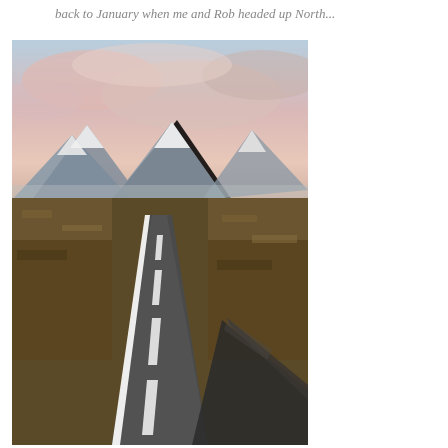back to January when me and Rob headed up North...
[Figure (photo): A road stretching into the distance through a highland moorland landscape, with snow-capped mountains in the background under a pale pink and blue sky. The photo appears to be taken from inside a car, with part of the car window frame visible in the lower right corner.]